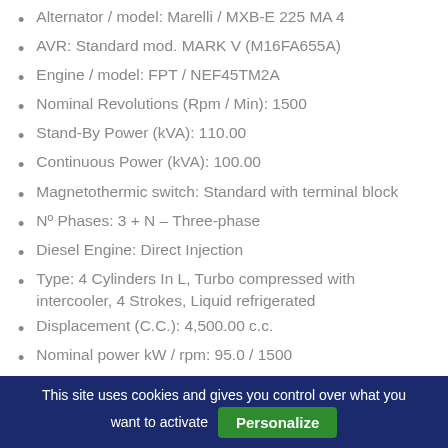Alternator / model: Marelli / MXB-E 225 MA 4
AVR: Standard mod. MARK V (M16FA655A)
Engine / model: FPT / NEF45TM2A
Nominal Revolutions (Rpm / Min): 1500
Stand-By Power (kVA): 110.00
Continuous Power (kVA): 100.00
Magnetothermic switch: Standard with terminal block
Nº Phases: 3 + N – Three-phase
Diesel Engine: Direct Injection
Type: 4 Cylinders In L, Turbo compressed with intercooler, 4 Strokes, Liquid refrigerated
Displacement (C.C.): 4,500.00 c.c.
Nominal power kW / rpm: 95.0 / 1500
Nominal Engine Revolutions (Rpm): 1500
Injection System: Direct Mechanical Control
This site uses cookies and gives you control over what you want to activate
Personalize